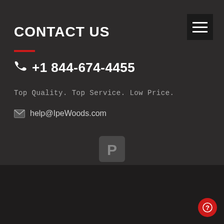CONTACT US
+1 844-674-4455
Top Quality. Top Service. Low Price.
help@IpeWoods.com
[Figure (logo): Pinterest icon in grey rounded square]
Home • Ipe Wood • Ipe Decking • Ipe Siding • Ipe Fencing • Terms and Conditions • Careers • Privacy Policy • Sitemap • Hardwood News • Membership • Custom Milling • Hardwood Lumber • Contact